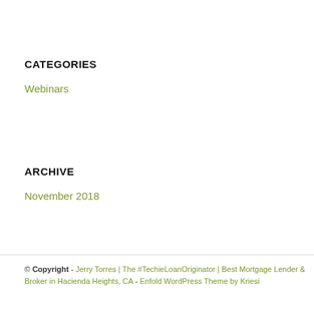CATEGORIES
Webinars
ARCHIVE
November 2018
© Copyright - Jerry Torres | The #TechieLoanOriginator | Best Mortgage Lender & Broker in Hacienda Heights, CA - Enfold WordPress Theme by Kriesi